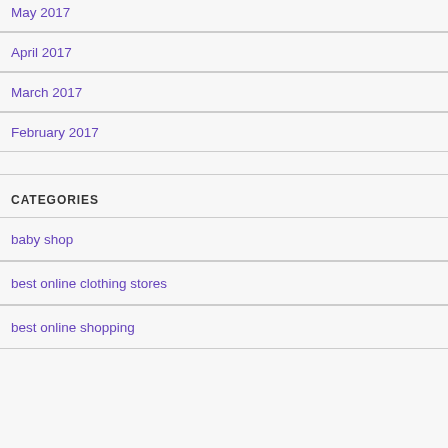May 2017
April 2017
March 2017
February 2017
CATEGORIES
baby shop
best online clothing stores
best online shopping